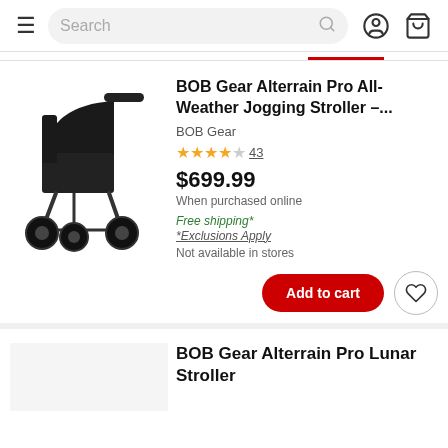Search bar with hamburger menu, user icon, and cart icon
[Figure (photo): Black BOB Gear Alterrain Pro jogging stroller with three wheels, side view]
BOB Gear Alterrain Pro All-Weather Jogging Stroller –...
BOB Gear
★★★★☆ 43
$699.99
When purchased online
Free shipping*
*Exclusions Apply
Not available in stores
Add to cart
BOB Gear Alterrain Pro Lunar Stroller